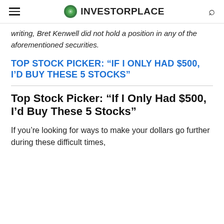INVESTORPLACE
writing, Bret Kenwell did not hold a position in any of the aforementioned securities.
TOP STOCK PICKER: “IF I ONLY HAD $500, I’D BUY THESE 5 STOCKS”
Top Stock Picker: “If I Only Had $500, I’d Buy These 5 Stocks”
If you’re looking for ways to make your dollars go further during these difficult times,